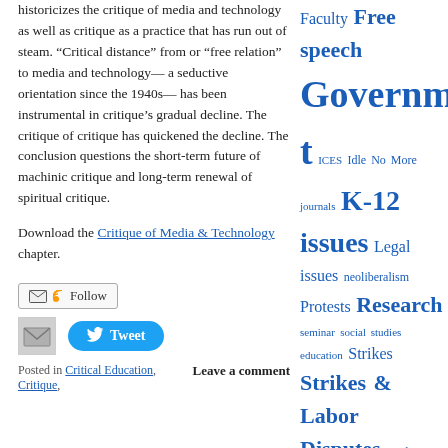historicizes the critique of media and technology as well as critique as a practice that has run out of steam. “Critical distance” from or “free relation” to media and technology— a seductive orientation since the 1940s— has been instrumental in critique’s gradual decline. The critique of critique has quickened the decline. The conclusion questions the short-term future of machinic critique and long-term renewal of spiritual critique.
Download the Critique of Media & Technology chapter.
Follow
Tweet
Posted in Critical Education, Critique,
Leave a comment
Faculty Free speech Government ICES Idle No More journals K-12 issues Legal issues neoliberalism Protests Research seminar social studies education Strikes Strikes & Labor Disputes Student Movement Students talks Teachers Testing UBC unions Working